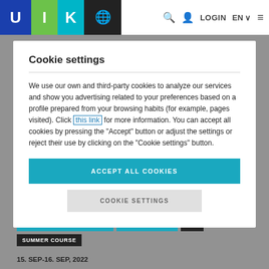U I K [logo image] LOGIN EN
Cookie settings
We use our own and third-party cookies to analyze our services and show you advertising related to your preferences based on a profile prepared from your browsing habits (for example, pages visited). Click this link for more information. You can accept all cookies by pressing the "Accept" button or adjust the settings or reject their use by clicking on the "Cookie settings" button.
ACCEPT ALL COOKIES
COOKIE SETTINGS
SCIENCE AND TECHNOLOGY   SUSTAINABILITY   DSF   SUMMER COURSE
15. SEP-16. SEP, 2022